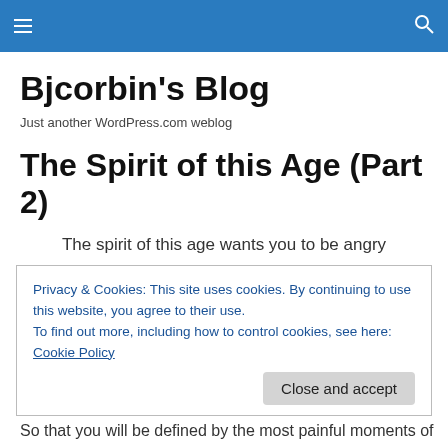Bjcorbin's Blog
Just another WordPress.com weblog
The Spirit of this Age (Part 2)
The spirit of this age wants you to be angry
Privacy & Cookies: This site uses cookies. By continuing to use this website, you agree to their use.
To find out more, including how to control cookies, see here: Cookie Policy
Close and accept
So that you will be defined by the most painful moments of